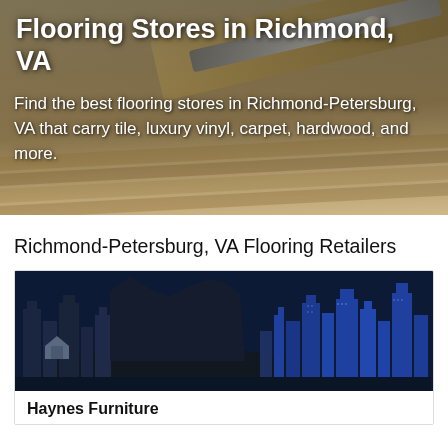Flooring Stores in Richmond, VA
Find the best flooring stores in Richmond-Petersburg, VA that carry tile, luxury vinyl, carpet, hardwood, and more.
Richmond-Petersburg, VA Flooring Retailers
[Figure (illustration): City skyline illustration showing buildings in dark navy and blue tones, representing Richmond-Petersburg VA area]
Haynes Furniture